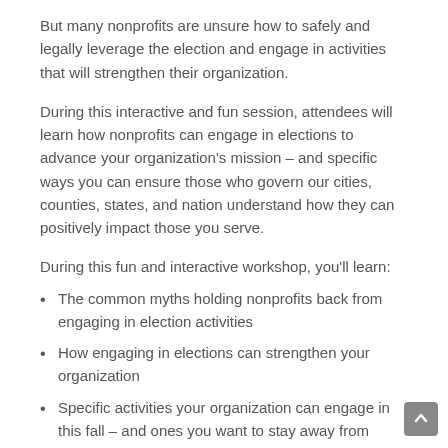But many nonprofits are unsure how to safely and legally leverage the election and engage in activities that will strengthen their organization.
During this interactive and fun session, attendees will learn how nonprofits can engage in elections to advance your organization's mission – and specific ways you can ensure those who govern our cities, counties, states, and nation understand how they can positively impact those you serve.
During this fun and interactive workshop, you'll learn:
The common myths holding nonprofits back from engaging in election activities
How engaging in elections can strengthen your organization
Specific activities your organization can engage in this fall – and ones you want to stay away from
Now What? Next Steps to Take